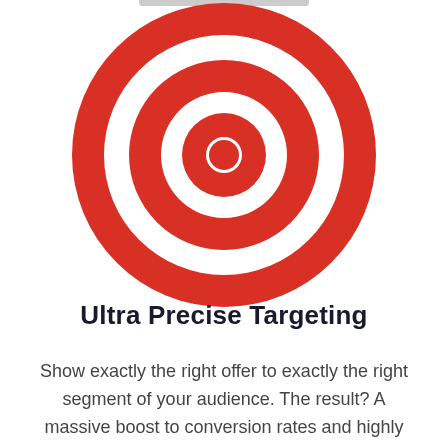[Figure (illustration): A bullseye / target icon with concentric red and white rings and a red center dot, on a white background.]
Ultra Precise Targeting
Show exactly the right offer to exactly the right segment of your audience. The result? A massive boost to conversion rates and highly targeted, engaged lists!